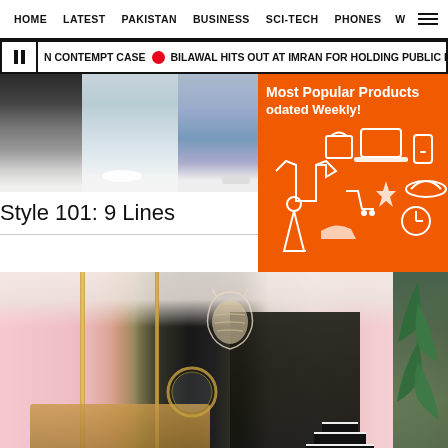HOME   LATEST   PAKISTAN   BUSINESS   SCI-TECH   PHONES   W
N CONTEMPT CASE  •  BILAWAL HITS OUT AT IMRAN FOR HOLDING PUBLIC RALLIES
[Figure (photo): Fashion photo showing legs with shoes against white background, split into segments]
[Figure (infographic): Orange advertisement banner: Most Popular Products Updated Weekly with product icons]
Style 101: 9 Lines
[Figure (photo): Interior of a fashion/shoe store with pink walls, gold display fixtures, circular mirror, wooden animal head sculpture on ceiling, black staircase with white steps, and tropical leaf wallpaper on right side]